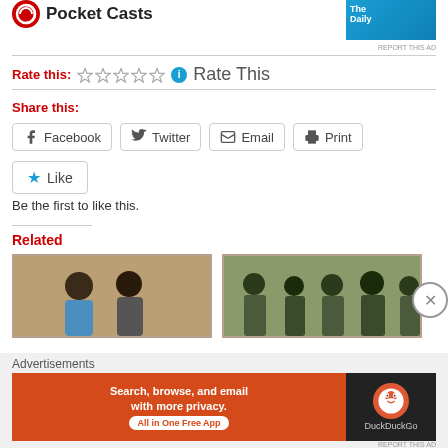[Figure (logo): Pocket Casts logo with red circular icon and bold text]
[Figure (screenshot): The Daily advertisement badge in blue]
REPORT THIS AD
Rate this:
Rate This
Share this:
Facebook
Twitter
Email
Print
Like
Be the first to like this.
Related
[Figure (photo): Two men seated, news related photo]
[Figure (photo): Military personnel group photo]
Advertisements
[Figure (screenshot): DuckDuckGo advertisement: Search, browse, and email with more privacy. All in One Free App]